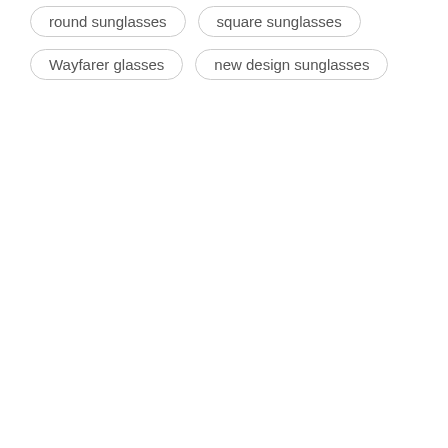round sunglasses
square sunglasses
Wayfarer glasses
new design sunglasses